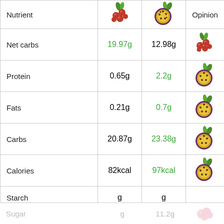| Nutrient | 🍒 (cranberry) | 🥭 (passion fruit) | Opinion |
| --- | --- | --- | --- |
| Net carbs | 19.97g | 12.98g | cranberry icon |
| Protein | 0.65g | 2.2g | passion fruit icon |
| Fats | 0.21g | 0.7g | passion fruit icon |
| Carbs | 20.87g | 23.38g | passion fruit icon |
| Calories | 82kcal | 97kcal | passion fruit icon |
| Starch | g | g |  |
| Fructose | g | g |  |
| Sugar | g | 11.2g | pink icon (faded) |